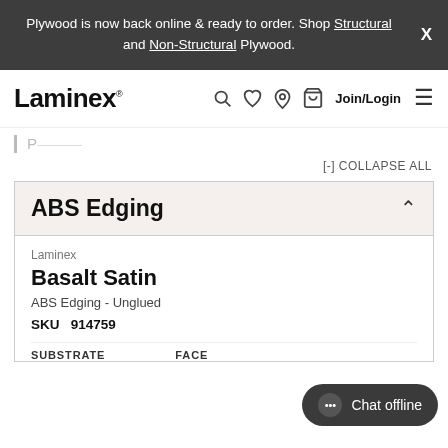Plywood is now back online & ready to order. Shop Structural and Non-Structural Plywood.
[Figure (logo): Laminex logo with navigation icons (search, wishlist, location, basket) and Join/Login link]
[-] COLLAPSE ALL
ABS Edging
Laminex
Basalt Satin
ABS Edging - Unglued
SKU  914759
SUBSTRATE   FACE